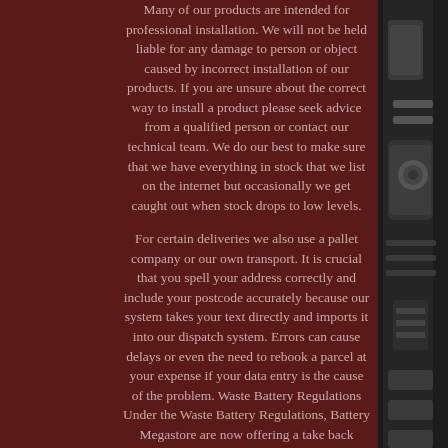Many of our products are intended for professional installation. We will not be held liable for any damage to person or object caused by incorrect installation of our products. If you are unsure about the correct way to install a product please seek advice from a qualified person or contact our technical team. We do our best to make sure that we have everything in stock that we list on the internet but occasionally we get caught out when stock drops to low levels.
For certain deliveries we also use a pallet company or our own transport. It is crucial that you spell your address correctly and include your postcode accurately because our system takes your text directly and imports it into our dispatch system. Errors can cause delays or even the need to rebook a parcel at your expense if your data entry is the cause of the problem. Waste Battery Regulations Under the Waste Battery Regulations, Battery Megastore are now offering a take back scheme for all portable waste batteries. you can return your waste batteries
[Figure (photo): Right edge of page showing a dark metallic/mechanical object, likely a battery or equipment part, against a black background]